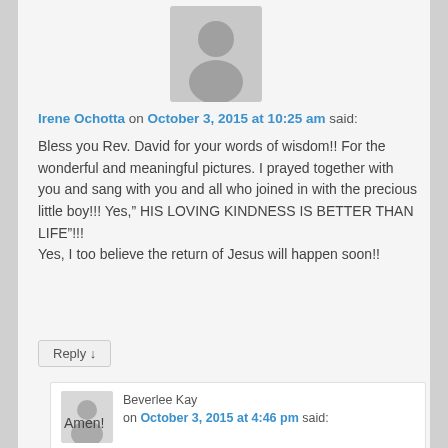[Figure (illustration): Generic user avatar placeholder icon (gray silhouette on gray background)]
Irene Ochotta on October 3, 2015 at 10:25 am said:
Bless you Rev. David for your words of wisdom!! For the wonderful and meaningful pictures. I prayed together with you and sang with you and all who joined in with the precious little boy!!! Yes,” HIS LOVING KINDNESS IS BETTER THAN LIFE”!!! Yes, I too believe the return of Jesus will happen soon!!
Reply ↓
[Figure (illustration): Generic user avatar placeholder icon (gray silhouette on light gray background)]
Beverlee Kay on October 3, 2015 at 4:46 pm said:
Amen!
Reply